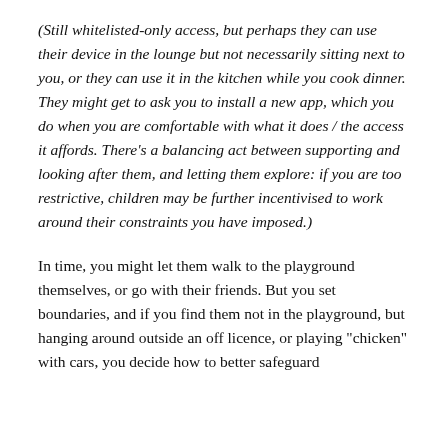(Still whitelisted-only access, but perhaps they can use their device in the lounge but not necessarily sitting next to you, or they can use it in the kitchen while you cook dinner. They might get to ask you to install a new app, which you do when you are comfortable with what it does / the access it affords. There's a balancing act between supporting and looking after them, and letting them explore: if you are too restrictive, children may be further incentivised to work around their constraints you have imposed.)
In time, you might let them walk to the playground themselves, or go with their friends. But you set boundaries, and if you find them not in the playground, but hanging around outside an off licence, or playing "chicken" with cars, you decide how to better safeguard